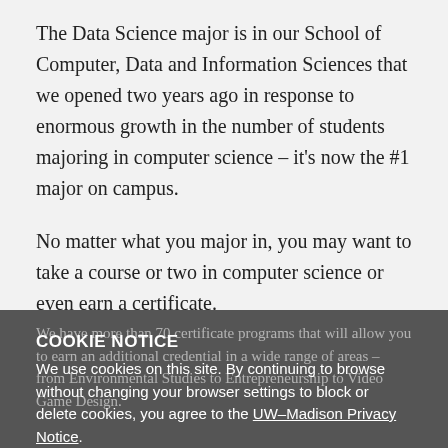The Data Science major is in our School of Computer, Data and Information Sciences that we opened two years ago in response to enormous growth in the number of students majoring in computer science – it's now the #1 major on campus.
No matter what you major in, you may want to take a course or two in computer science or even earn a certificate.
We have more than 70 certificate programs that will allow you to earn an additional credential in a wide range of areas – from Environmental Studies to Entrepreneurship to Video Game Design.
COOKIE NOTICE
We use cookies on this site. By continuing to browse without changing your browser settings to block or delete cookies, you agree to the UW–Madison Privacy Notice.
GOT IT!
Last year, more than half of students graduated with degrees in one of the STEM fields – but I don't want you to